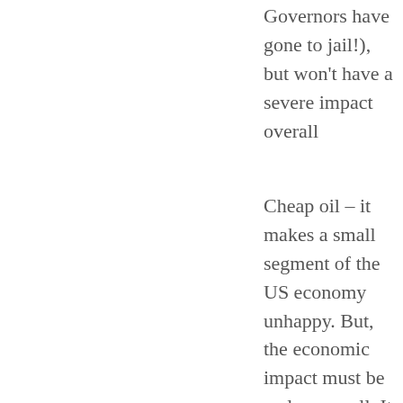Governors have gone to jail!), but won't have a severe impact overall
Cheap oil – it makes a small segment of the US economy unhappy. But, the economic impact must be a plus overall. It does create geo-political instability, but I think Hillary can deal with the 3 biggest losers (Russia, Saudi Arabia, and Iran)
And, there are all sorts of new technologies coming on line. 3-D printing.